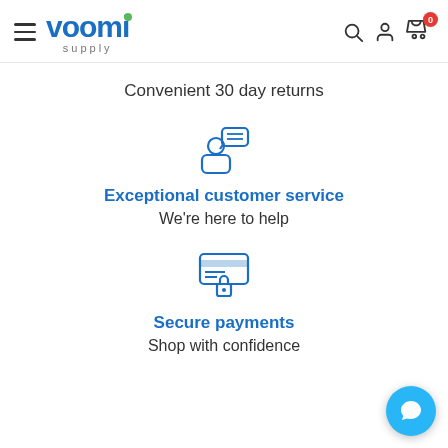voomi supply — navigation header with hamburger menu, search, account, and cart icons
Convenient 30 day returns
[Figure (illustration): Blue outline icon of a person with a speech bubble (customer service representative)]
Exceptional customer service
We're here to help
[Figure (illustration): Blue outline icon of a credit card with a lock (secure payments)]
Secure payments
Shop with confidence